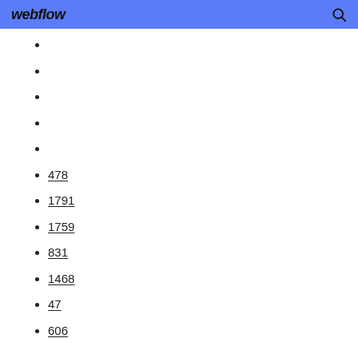webflow
478
1791
1759
831
1468
47
606